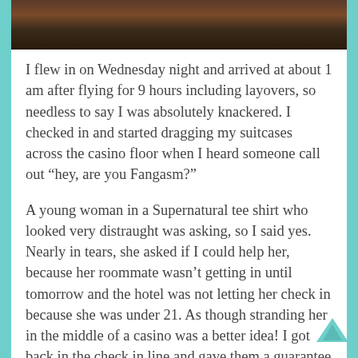[Figure (photo): Partial photo strip at top showing dark brown/reddish tones, appears to be a cropped image of people]
I flew in on Wednesday night and arrived at about 1 am after flying for 9 hours including layovers, so needless to say I was absolutely knackered. I checked in and started dragging my suitcases across the casino floor when I heard someone call out “hey, are you Fangasm?”
A young woman in a Supernatural tee shirt who looked very distraught was asking, so I said yes. Nearly in tears, she asked if I could help her, because her roommate wasn’t getting in until tomorrow and the hotel was not letting her check in because she was under 21. As though stranding her in the middle of a casino was a better idea! I got back in the check in line and gave them a guarantee for her